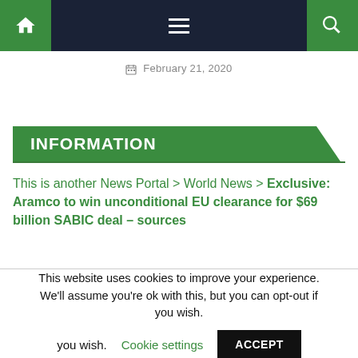Navigation bar with home, menu, and search icons
February 21, 2020
INFORMATION
This is another News Portal > World News > Exclusive: Aramco to win unconditional EU clearance for $69 billion SABIC deal – sources
This website uses cookies to improve your experience. We'll assume you're ok with this, but you can opt-out if you wish. Cookie settings ACCEPT